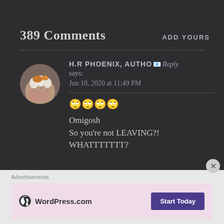389 Comments
ADD YOURS
H.R PHOENIX, AUTHOR Reply says: Jun 10, 2020 at 11:49 PM
🙄🙄🙄🙄
Omigosh
So you're not LEAVING?!
WHATTTTTTT?
Advertisements
[Figure (logo): WordPress.com logo with Start Today button on pink ad banner]